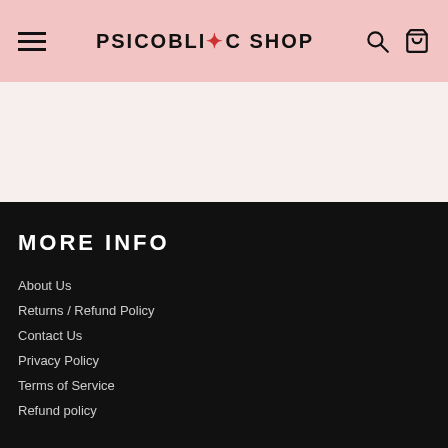PSICOBLOC SHOP
MORE INFO
About Us
Returns / Refund Policy
Contact Us
Privacy Policy
Terms of Service
Refund policy